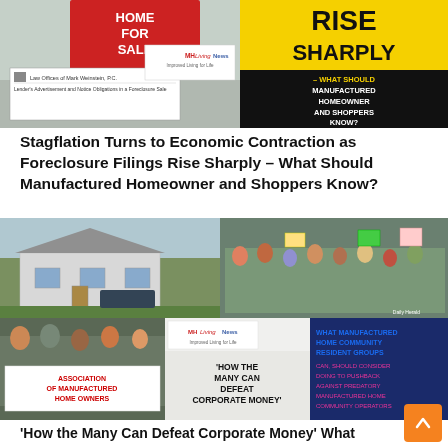[Figure (photo): Top collage image: left side shows a 'Home For Sale' red sign and a foreclosure sale legal document; right side shows a yellow/black graphic reading 'RISE SHARPLY – WHAT SHOULD MANUFACTURED HOMEOWNER AND SHOPPERS KNOW?' with MHLivingNews logo overlay]
Stagflation Turns to Economic Contraction as Foreclosure Filings Rise Sharply – What Should Manufactured Homeowner and Shoppers Know?
[Figure (photo): Middle collage: top-left shows a manufactured home exterior; top-right shows a protest crowd with signs; bottom-left shows protesters with 'Association of Manufactured Home Owners' banner; bottom-center shows text overlay 'HOW THE MANY CAN DEFEAT CORPORATE MONEY'; bottom-right shows blue/pink text 'WHAT MANUFACTURED HOME COMMUNITY RESIDENT GROUPS CAN, SHOULD CONSIDER DOING TO PUSHBACK AGAINST PREDATORY MANUFACTURED HOME COMMUNITY OPERATORS' with MHLivingNews logo]
'How the Many Can Defeat Corporate Money' What